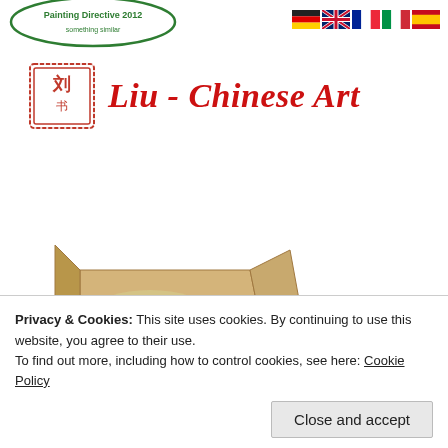[Figure (logo): Green oval logo with text at top of page]
[Figure (illustration): Four country flag icons: German, British, French, Italian, Spanish]
[Figure (logo): Liu - Chinese Art brand logo with red Chinese seal stamp and italic red text]
[Figure (illustration): Open cardboard shipping box with bubble wrap inside, partially visible]
Privacy & Cookies: This site uses cookies. By continuing to use this website, you agree to their use.
To find out more, including how to control cookies, see here: Cookie Policy
Close and accept